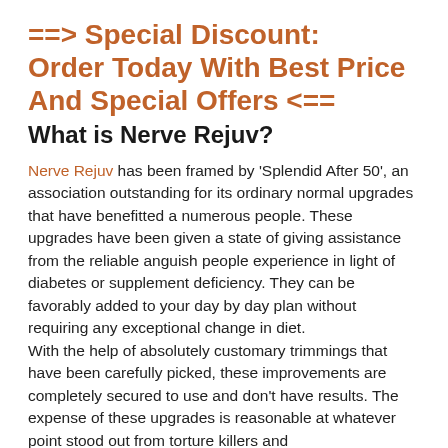==> Special Discount: Order Today With Best Price And Special Offers <==
What is Nerve Rejuv?
Nerve Rejuv has been framed by 'Splendid After 50', an association outstanding for its ordinary normal upgrades that have benefitted a numerous people. These upgrades have been given a state of giving assistance from the reliable anguish people experience in light of diabetes or supplement deficiency. They can be favorably added to your day by day plan without requiring any exceptional change in diet.
With the help of absolutely customary trimmings that have been carefully picked, these improvements are completely secured to use and don't have results. The expense of these upgrades is reasonable at whatever point stood out from torture killers and